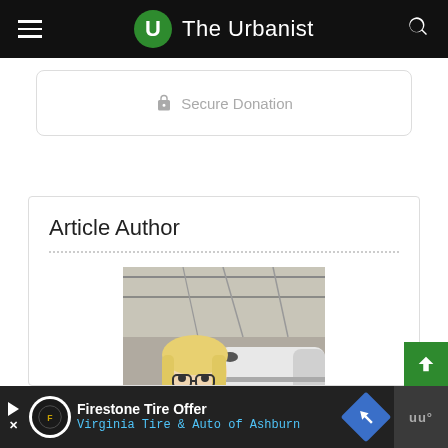The Urbanist
Secure Donation
Article Author
[Figure (photo): A woman with blonde hair and glasses smiling at a train station platform with a high-speed rail train in the background.]
Firestone Tire Offer - Virginia Tire & Auto of Ashburn